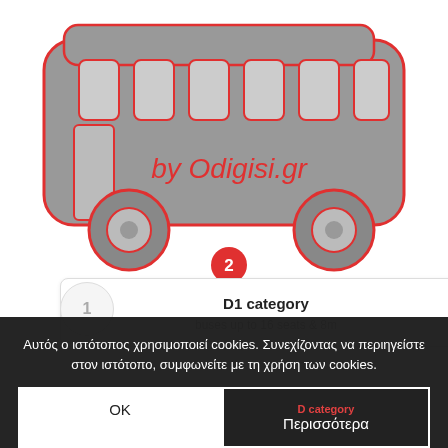[Figure (illustration): Gray bus illustration with red outline and the text 'by Odigisi.gr' in red italic font on the side. A red circle badge with the number 2 appears near the bottom center of the bus.]
1
D1 category
buses up to 16 seats & 8m
Αυτός ο ιστότοπος χρησιμοποιεί cookies. Συνεχίζοντας να περιηγείστε στον ιστότοπο, συμφωνείτε με τη χρήση των cookies.
OK
D category
Περισσότερα